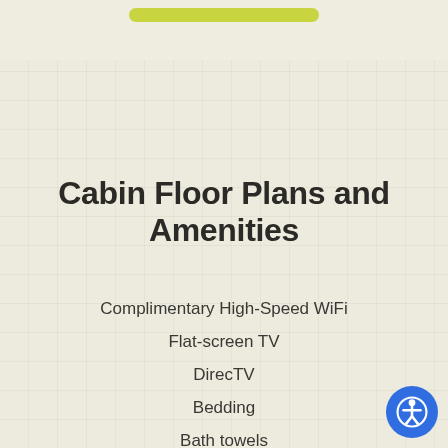Cabin Floor Plans and Amenities
Complimentary High-Speed WiFi
Flat-screen TV
DirecTV
Bedding
Bath towels